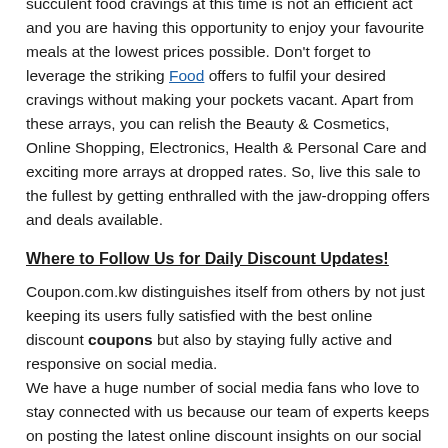succulent food cravings at this time is not an efficient act and you are having this opportunity to enjoy your favourite meals at the lowest prices possible. Don't forget to leverage the striking Food offers to fulfil your desired cravings without making your pockets vacant. Apart from these arrays, you can relish the Beauty & Cosmetics, Online Shopping, Electronics, Health & Personal Care and exciting more arrays at dropped rates. So, live this sale to the fullest by getting enthralled with the jaw-dropping offers and deals available.
Where to Follow Us for Daily Discount Updates!
Coupon.com.kw distinguishes itself from others by not just keeping its users fully satisfied with the best online discount coupons but also by staying fully active and responsive on social media.
We have a huge number of social media fans who love to stay connected with us because our team of experts keeps on posting the latest online discount insights on our social media pages. It helps a lot in keeping themselves fully aware of the latest online discount codes and coupons in Kuwait.
Follow us now on Facebook and Instagram!